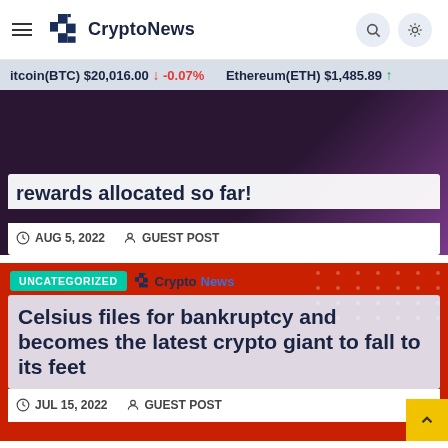CryptoNews
itcoin(BTC) $20,016.00 ↓ -0.07% Ethereum(ETH) $1,485.89 ↑
rewards allocated so far!
AUG 5, 2022  GUEST POST
UNCATEGORIZED
Celsius files for bankruptcy and becomes the latest crypto giant to fall to its feet
JUL 15, 2022  GUEST POST